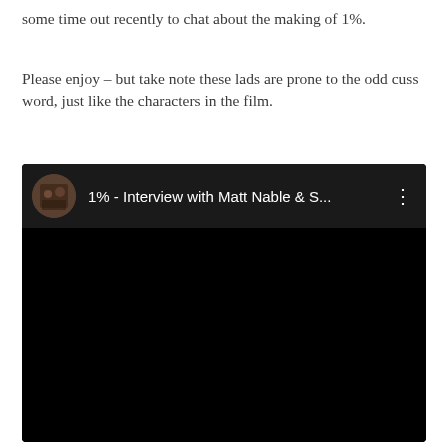some time out recently to chat about the making of 1%.
Please enjoy – but take note these lads are prone to the odd cuss word, just like the characters in the film.
[Figure (screenshot): Embedded YouTube video player showing '1% - Interview with Matt Nable & S...' with a dark/black thumbnail and video header bar with circular avatar thumbnail, title text, and three-dot menu icon.]